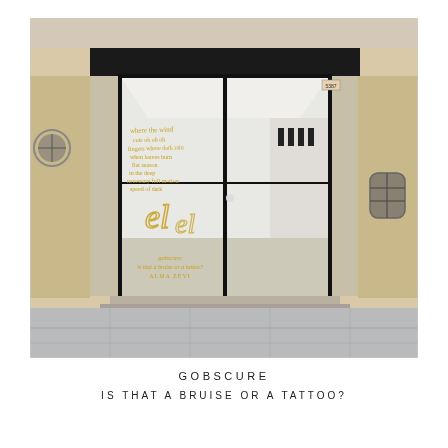[Figure (photo): Exterior photograph of a gallery storefront in Venice, Italy. The building has weathered ochre/beige stucco walls with stone architectural trim. A large black-framed double glass door and window dominate the facade. On the glass, gold handwritten text and calligraphic words are visible, including 'gobscure', 'is that a bruise or a tattoo?', and 'ALMA ZEVI'. Inside the gallery, a white interior with artworks on the walls is visible. Small round windows with iron grilles flank the entrance.]
GOBSCURE
IS THAT A BRUISE OR A TATTOO?